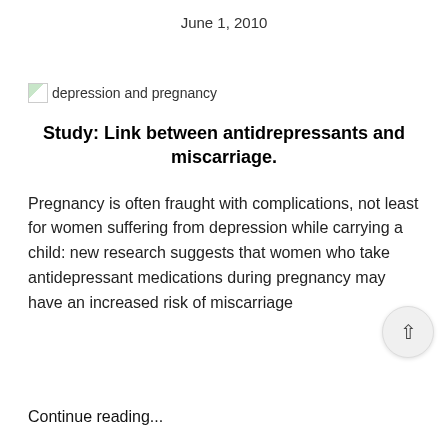June 1, 2010
[Figure (illustration): Broken image placeholder with alt text 'depression and pregnancy']
Study: Link between antidrepressants and miscarriage.
Pregnancy is often fraught with complications, not least for women suffering from depression while carrying a child: new research suggests that women who take antidepressant medications during pregnancy may have an increased risk of miscarriage
Continue reading...